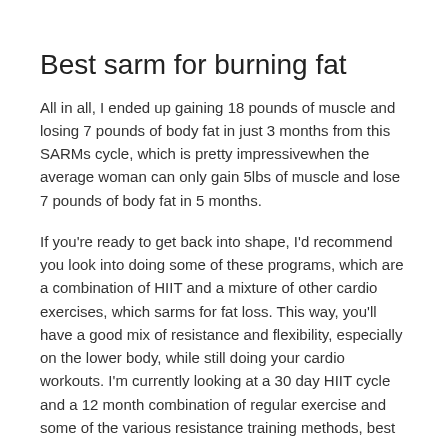Best sarm for burning fat
All in all, I ended up gaining 18 pounds of muscle and losing 7 pounds of body fat in just 3 months from this SARMs cycle, which is pretty impressivewhen the average woman can only gain 5lbs of muscle and lose 7 pounds of body fat in 5 months.
If you're ready to get back into shape, I'd recommend you look into doing some of these programs, which are a combination of HIIT and a mixture of other cardio exercises, which sarms for fat loss. This way, you'll have a good mix of resistance and flexibility, especially on the lower body, while still doing your cardio workouts. I'm currently looking at a 30 day HIIT cycle and a 12 month combination of regular exercise and some of the various resistance training methods, best